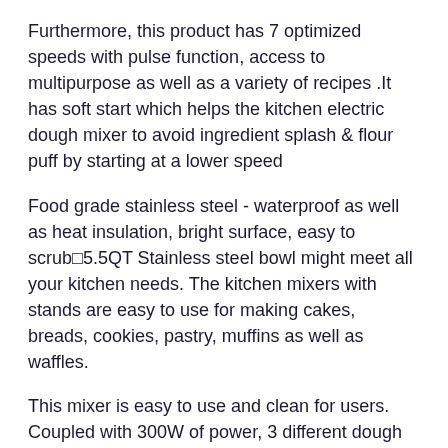Furthermore, this product has 7 optimized speeds with pulse function, access to multipurpose as well as a variety of recipes .It has soft start which helps the kitchen electric dough mixer to avoid ingredient splash & flour puff by starting at a lower speed
Food grade stainless steel - waterproof as well as heat insulation, bright surface, easy to scrub5.5QT Stainless steel bowl might meet all your kitchen needs. The kitchen mixers with stands are easy to use for making cakes, breads, cookies, pastry, muffins as well as waffles.
This mixer is easy to use and clean for users. Coupled with 300W of power, 3 different dough hooks as well as 2 baking silicone spatulas, which can be combined to meet your various cooking needs.And the batidora electrica de mano's bowl, plus, attachments are also easy to clean.